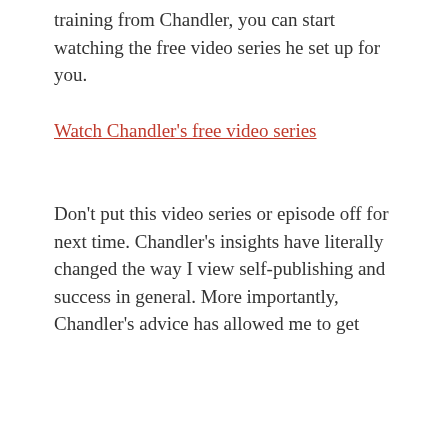For people interested in receiving free training from Chandler, you can start watching the free video series he set up for you.
Watch Chandler's free video series
Don't put this video series or episode off for next time. Chandler's insights have literally changed the way I view self-publishing and success in general. More importantly, Chandler's advice has allowed me to get